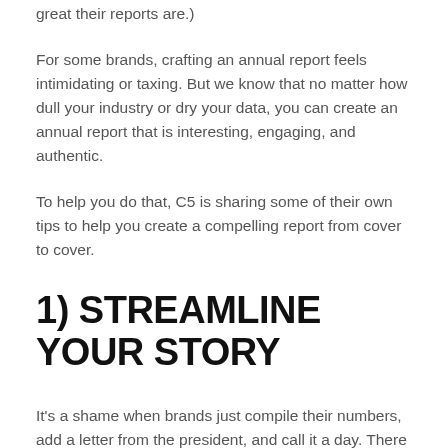great their reports are.)
For some brands, crafting an annual report feels intimidating or taxing. But we know that no matter how dull your industry or dry your data, you can create an annual report that is interesting, engaging, and authentic.
To help you do that, C5 is sharing some of their own tips to help you create a compelling report from cover to cover.
1) STREAMLINE YOUR STORY
It's a shame when brands just compile their numbers, add a letter from the president, and call it a day. There is a lot of valuable content to be shared in an annual report, but if it isn't presented appropriately, much of it goes to waste. As a